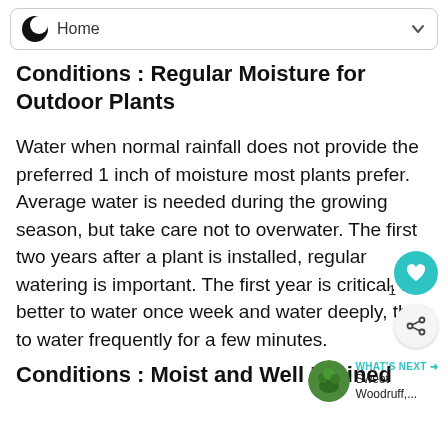Home
Conditions : Regular Moisture for Outdoor Plants
Water when normal rainfall does not provide the preferred 1 inch of moisture most plants prefer. Average water is needed during the growing season, but take care not to overwater. The first two years after a plant is installed, regular watering is important. The first year is critical. It is better to water once week and water deeply, than to water frequently for a few minutes.
Conditions : Moist and Well Drained